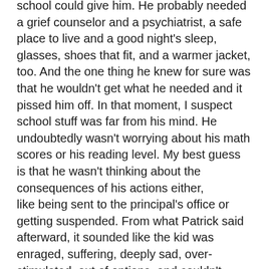school could give him. He probably needed a grief counselor and a psychiatrist, a safe place to live and a good night's sleep, glasses, shoes that fit, and a warmer jacket, too. And the one thing he knew for sure was that he wouldn't get what he needed and it pissed him off. In that moment, I suspect school stuff was far from his mind. He undoubtedly wasn't worrying about his math scores or his reading level. My best guess is that he wasn't thinking about the consequences of his actions either, like being sent to the principal's office or getting suspended. From what Patrick said afterward, it sounded like the kid was enraged, suffering, deeply sad, over-stimulated, out of options, and couldn't believe that any adult would listen to him express his problems with words alone.
Schools can't solve all of this society's problems. But